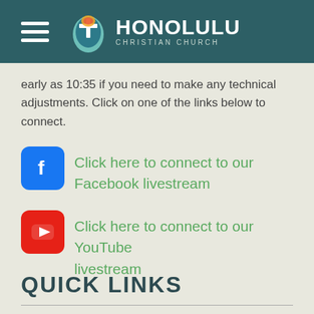Honolulu Christian Church
early as 10:35 if you need to make any technical adjustments. Click on one of the links below to connect.
Click here to connect to our Facebook livestream
Click here to connect to our YouTube livestream
QUICK LINKS